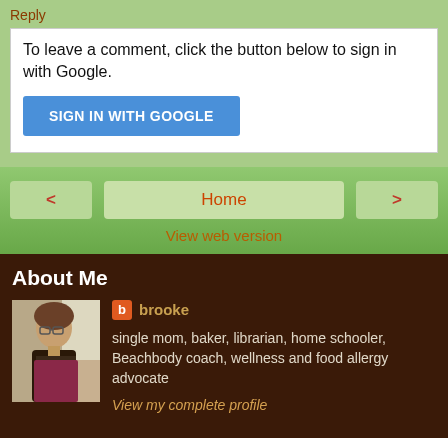Reply
To leave a comment, click the button below to sign in with Google.
SIGN IN WITH GOOGLE
Home
View web version
About Me
[Figure (photo): Profile photo of brooke, a woman with glasses]
brooke
single mom, baker, librarian, home schooler, Beachbody coach, wellness and food allergy advocate
View my complete profile